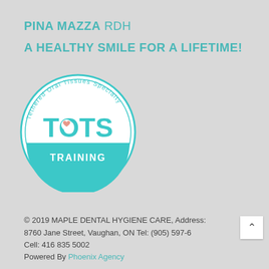PINA MAZZA RDH
A HEALTHY SMILE FOR A LIFETIME!
[Figure (logo): TOTS Training logo — circular badge with teal border and text 'Tethered Oral Tissues Specialty' around the top, large teal letters 'TOTS' in the center with a small salmon/pink heart in the O, and a teal semicircle banner at the bottom with white text 'TRAINING']
© 2019 MAPLE DENTAL HYGIENE CARE, Address: 8760 Jane Street, Vaughan, ON Tel: (905) 597-6 Cell: 416 835 5002 Powered By Phoenix Agency